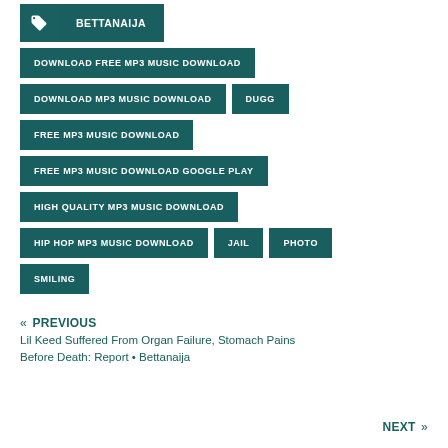BETTANAIJA
DOWNLOAD FREE MP3 MUSIC DOWNLOAD
DOWNLOAD MP3 MUSIC DOWNLOAD
DUGG
FREE MP3 MUSIC DOWNLOAD
FREE MP3 MUSIC DOWNLOAD GOOGLE PLAY
HIGH QUALITY MP3 MUSIC DOWNLOAD
HIP HOP MP3 MUSIC DOWNLOAD
JAIL
PHOTO
SMILING
« PREVIOUS
Lil Keed Suffered From Organ Failure, Stomach Pains Before Death: Report • Bettanaija
NEXT »